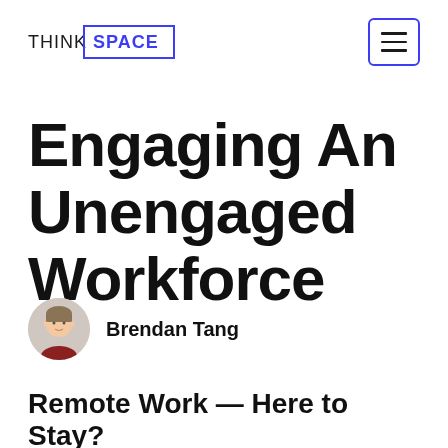THINK SPACE
Engaging An Unengaged Workforce
Brendan Tang
Remote Work — Here to Stay?